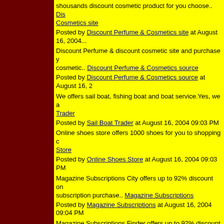shousands discount cosmetic product for you choose.. Discount Cosmetics site
Posted by Discount Perfume & Cosmetics site at August 16, 2004
Discount Perfume & discount cosmetic site and purchase your cosmetic.. Discount Perfume & Cosmetics source
Posted by Discount Perfume & Cosmetics source at August 16, 2
We offers sail boat, fishing boat and boat service.Yes, we a... Sail Boat Trader
Posted by Sail Boat Trader at August 16, 2004 09:03 PM
Online shoes store offers 1000 shoes for you to shopping o... Online Shoes Store
Posted by Online Shoes Store at August 16, 2004 09:03 PM
Magazine Subscriptions City offers up to 92% discount on subscription purchase.. Magazine Subscriptions
Posted by Magazine Subscriptions at August 16, 2004 09:04 PM
Magazine Subscriptions Finder offers up to 92% discount on subscription purchase.. Magazine Subscription
Posted by Magazine Subscription at August 16, 2004 09:04 PM
Magazine Subscriptions Finder is the magazine subscription... find lowest magazine subscription prices.. Magazine Subsc...